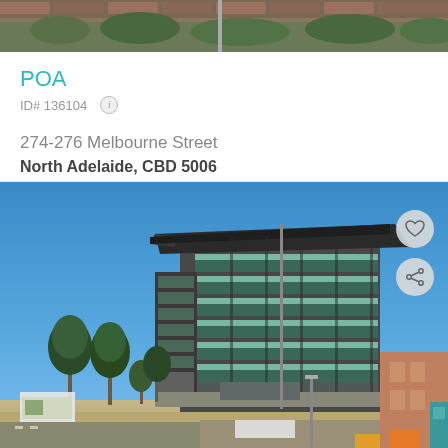[Figure (photo): Top portion of a building or property photo, showing rooftop garden/vegetation and brick wall, cropped at bottom]
POA
ID# 136104
274-276 Melbourne Street
North Adelaide, CBD 5006
[Figure (photo): Modern multi-storey commercial office building with distinctive angular roofline, glass and steel facade with horizontal banding, photographed from street level against a clear blue sky. Trees and street furniture visible in foreground. Another brick building visible at far right.]